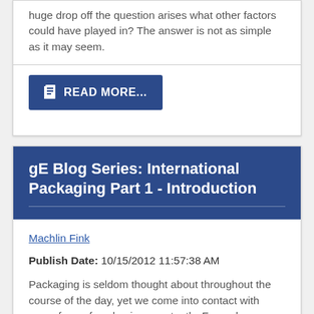huge drop off the question arises what other factors could have played in? The answer is not as simple as it may seem.
READ MORE...
gE Blog Series: International Packaging Part 1 - Introduction
Machlin Fink
Publish Date: 10/15/2012 11:57:38 AM
Packaging is seldom thought about throughout the course of the day, yet we come into contact with some form of packaging constantly. For as long as there has